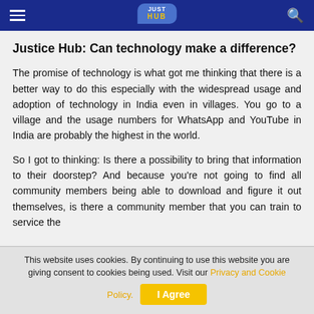Justice Hub navigation bar with hamburger menu, logo, and search icon
Justice Hub: Can technology make a difference?
The promise of technology is what got me thinking that there is a better way to do this especially with the widespread usage and adoption of technology in India even in villages. You go to a village and the usage numbers for WhatsApp and YouTube in India are probably the highest in the world.
So I got to thinking: Is there a possibility to bring that information to their doorstep? And because you're not going to find all community members being able to download and figure it out themselves, is there a community member that you can train to service the
This website uses cookies. By continuing to use this website you are giving consent to cookies being used. Visit our Privacy and Cookie Policy.
I Agree